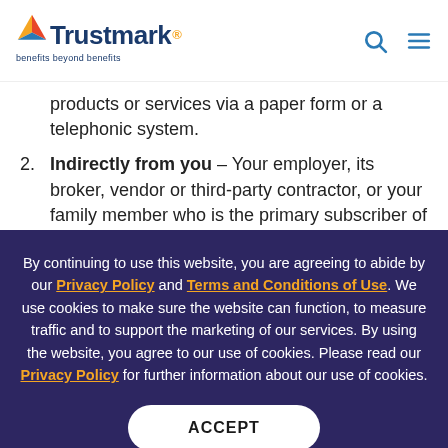Trustmark — benefits beyond benefits
products or services via a paper form or a telephonic system.
2. Indirectly from you – Your employer, its broker, vendor or third-party contractor, or your family member who is the primary subscriber of a
By continuing to use this website, you are agreeing to abide by our Privacy Policy and Terms and Conditions of Use. We use cookies to make sure the website can function, to measure traffic and to support the marketing of our services. By using the website, you agree to our use of cookies. Please read our Privacy Policy for further information about our use of cookies.
ACCEPT